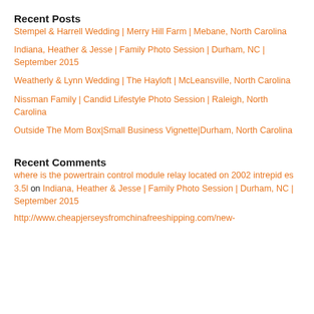Recent Posts
Stempel & Harrell Wedding | Merry Hill Farm | Mebane, North Carolina
Indiana, Heather & Jesse | Family Photo Session | Durham, NC | September 2015
Weatherly & Lynn Wedding | The Hayloft | McLeansville, North Carolina
Nissman Family | Candid Lifestyle Photo Session | Raleigh, North Carolina
Outside The Mom Box|Small Business Vignette|Durham, North Carolina
Recent Comments
where is the powertrain control module relay located on 2002 intrepid es 3.5l on Indiana, Heather & Jesse | Family Photo Session | Durham, NC | September 2015
http://www.cheapjerseysfromchinafreeshipping.com/new-